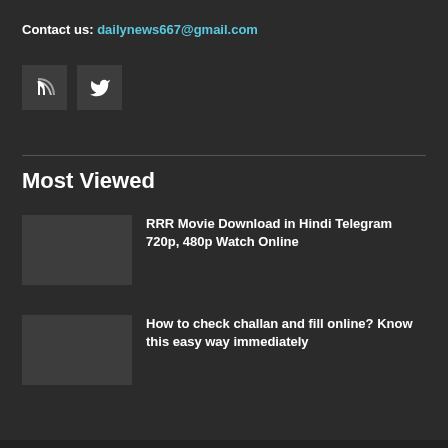Contact us: dailynews667@gmail.com
[Figure (other): Social media icon buttons: RSS feed icon and Twitter bird icon, dark square buttons]
Most Viewed
RRR Movie Download in Hindi Telegram 720p, 480p Watch Online
How to check challan and fill online? Know this easy way immediately